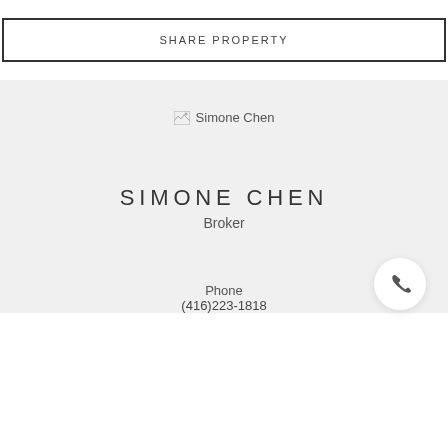SHARE PROPERTY
[Figure (photo): Broken image placeholder for Simone Chen agent photo]
SIMONE CHEN
Broker
[Figure (illustration): Phone icon in white circle button]
Phone
(416)223-1818